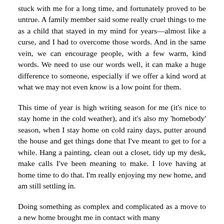stuck with me for a long time, and fortunately proved to be untrue. A family member said some really cruel things to me as a child that stayed in my mind for years—almost like a curse, and I had to overcome those words. And in the same vein, we can encourage people, with a few warm, kind words. We need to use our words well, it can make a huge difference to someone, especially if we offer a kind word at what we may not even know is a low point for them.
This time of year is high writing season for me (it's nice to stay home in the cold weather), and it's also my 'homebody' season, when I stay home on cold rainy days, putter around the house and get things done that I've meant to get to for a while. Hang a painting, clean out a closet, tidy up my desk, make calls I've been meaning to make. I love having at home time to do that. I'm really enjoying my new home, and am still settling in.
Doing something as complex and complicated as a move to a new home brought me in contact with many